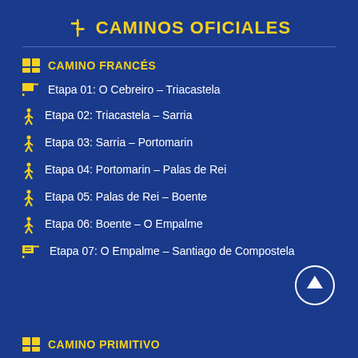CAMINOS OFICIALES
CAMINO FRANCÉS
Etapa 01: O Cebreiro – Triacastela
Etapa 02: Triacastela – Sarria
Etapa 03: Sarria – Portomarin
Etapa 04: Portomarin – Palas de Rei
Etapa 05: Palas de Rei – Boente
Etapa 06: Boente – O Empalme
Etapa 07: O Empalme – Santiago de Compostela
CAMINO PRIMITIVO